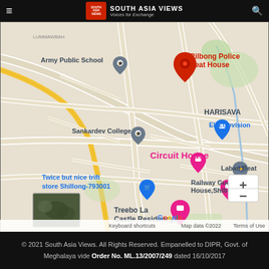SOUTH ASIA VIEWS — Voices for Exchange
[Figure (map): Google Maps screenshot showing Rilbong Police Beat House marked with a red pin in Shillong area. Nearby landmarks include Army Public School, Sankardev College, Circuit House, HARISAVA area, Electrovision, Laban Beat, Railway Guest House Shillong, Treebo La Castle Residency, Twice but nice trift store Shillong-793001. Map data ©2022. Shows Google logo, zoom controls (+/-), Keyboard shortcuts, and Terms of Use.]
© 2021 South Asia Views. All Rights Reserved. Empanelled to DIPR, Govt. of Meghalaya vide Order No. ML.13/2007/249 dated 16/10/2017